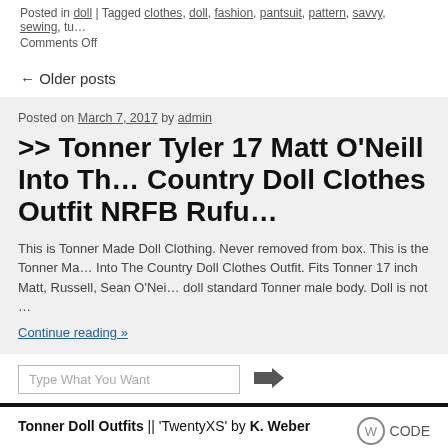Posted in doll | Tagged clothes, doll, fashion, pantsuit, pattern, savvy, sewing, tu…
Comments Off
← Older posts
Posted on March 7, 2017 by admin
>> Tonner Tyler 17 Matt O'Neill Into The Country Doll Clothes Outfit NRFB Rufu…
This is Tonner Made Doll Clothing. Never removed from box. This is the Tonner Ma… Into The Country Doll Clothes Outfit. Fits Tonner 17 inch Matt, Russell, Sean O'Nei… doll standard Tonner male body. Doll is not …
Continue reading »
Type What You Want
Tonner Doll Outfits || 'TwentyXS' by K. Weber  CODE